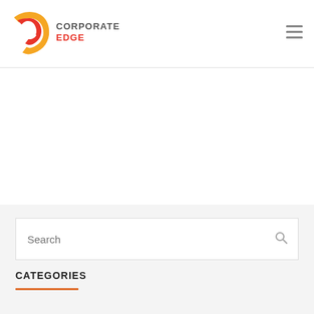[Figure (logo): Corporate Edge logo: stylized orange and red 'e' flame graphic with 'CORPORATE EDGE' text beside it]
CATEGORIES
[Figure (other): Search input field with placeholder text 'Search' and a search icon on the right]